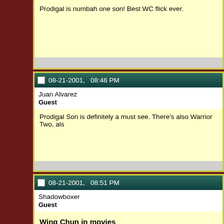Prodigal is numbah one son! Best WC flick ever.
08-21-2001,   08:46 PM
Juan Alvarez
Guest
Prodigal Son is definitely a must see. There's also Warrior Two, als
08-21-2001,   08:51 PM
Shadowboxer
Guest
Wing Chun in movies
There is also Descendant of Wing Chun but I don't think it's as goo And, of course, there is Wing Chun with Michelle Yeoh.